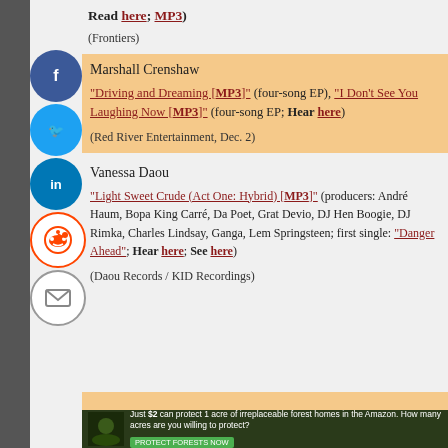Read here; MP3)
(Frontiers)
Marshall Crenshaw
"Driving and Dreaming [MP3]" (four-song EP), "I Don't See You Laughing Now [MP3]" (four-song EP; Hear here)
(Red River Entertainment, Dec. 2)
Vanessa Daou
"Light Sweet Crude (Act One: Hybrid) [MP3]" (producers: André Haum, Bopa King Carré, Da Poet, Grat Devio, DJ Hen Boogie, DJ Rimka, Charles Lindsay, Ganga, Lem Springsteen; first single: "Danger Ahead"; Hear here; See here)
(Daou Records / KID Recordings)
[Figure (infographic): Social media sharing sidebar with Facebook, Twitter, LinkedIn, Reddit, and Email icons]
[Figure (infographic): Advertisement banner: Just $2 can protect 1 acre of irreplaceable forest homes in the Amazon. How many acres are you willing to protect? PROTECT FORESTS NOW]